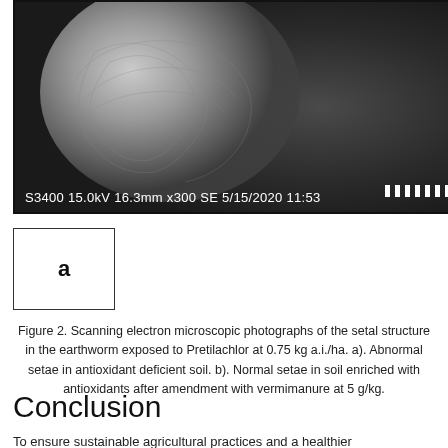[Figure (photo): Scanning electron microscope image showing setal structure of an earthworm. The image shows a textured, granular spherical object against a dark background. Bottom left shows SEM metadata: S3400 15.0kV 16.3mm x300 SE 5/15/2020 11:53. Scale bar ticks visible at bottom right.]
[Figure (photo): Subfigure panel labeled 'a' with a border box, representing part of Figure 2.]
Figure 2. Scanning electron microscopic photographs of the setal structure in the earthworm exposed to Pretilachlor at 0.75 kg a.i./ha. a). Abnormal setae in antioxidant deficient soil. b). Normal setae in soil enriched with antioxidants after amendment with vermimanure at 5 g/kg.
Conclusion
To ensure sustainable agricultural practices and a healthier